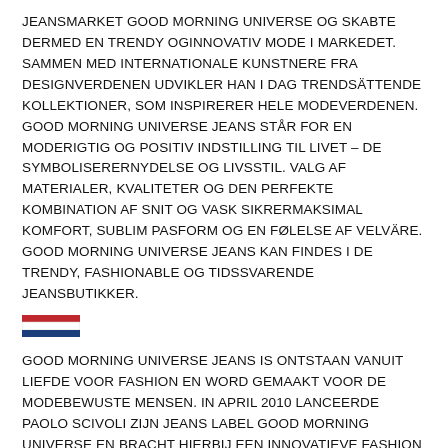JEANSMARKET GOOD MORNING UNIVERSE OG SKABTE DERMED EN TRENDY OGINNOVATIV MODE I MARKEDET. SAMMEN MED INTERNATIONALE KUNSTNERE FRA DESIGNVERDENEN UDVIKLER HAN I DAG TRENDSÄTTENDE KOLLEKTIONER, SOM INSPIRERER HELE MODEVERDENEN. GOOD MORNING UNIVERSE JEANS STÅR FOR EN MODERIGTIG OG POSITIV INDSTILLING TIL LIVET – DE SYMBOLISERERNYDELSE OG LIVSSTIL. VALG AF MATERIALER, KVALITETER OG DEN PERFEKTE KOMBINATION AF SNIT OG VASK SIKRERMAKSIMAL KOMFORT, SUBLIM PASFORM OG EN FØLELSE AF VELVÄRE. GOOD MORNING UNIVERSE JEANS KAN FINDES I DE TRENDY, FASHIONABLE OG TIDSSVARENDE JEANSBUTIKKER.
[Figure (illustration): Dutch flag horizontal stripes: red on top, white in middle, blue on bottom]
GOOD MORNING UNIVERSE JEANS IS ONTSTAAN VANUIT LIEFDE VOOR FASHION EN WORD GEMAAKT VOOR DE MODEBEWUSTE MENSEN. IN APRIL 2010 LANCEERDE PAOLO SCIVOLI ZIJN JEANS LABEL GOOD MORNING UNIVERSE EN BRACHT HIERBIJ EEN INNOVATIEVE FASHION MERK OP DE MARKT. SAMEN MET INTERNATIONALE FASHION DESIGNERS WORD ER MET ZORG EN AANDACHT TRENDY COLLECTIES GECREËERD MET GEPASSIONEERDE ONTWERPEN EN FIJNE DETAIL. GOOD MORNING